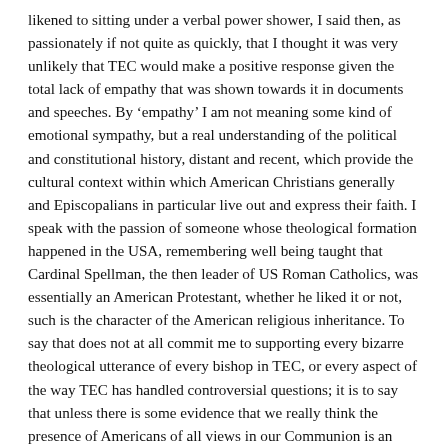likened to sitting under a verbal power shower, I said then, as passionately if not quite as quickly, that I thought it was very unlikely that TEC would make a positive response given the total lack of empathy that was shown towards it in documents and speeches. By ‘empathy’ I am not meaning some kind of emotional sympathy, but a real understanding of the political and constitutional history, distant and recent, which provide the cultural context within which American Christians generally and Episcopalians in particular live out and express their faith. I speak with the passion of someone whose theological formation happened in the USA, remembering well being taught that Cardinal Spellman, the then leader of US Roman Catholics, was essentially an American Protestant, whether he liked it or not, such is the character of the American religious inheritance. To say that does not at all commit me to supporting every bizarre theological utterance of every bishop in TEC, or every aspect of the way TEC has handled controversial questions; it is to say that unless there is some evidence that we really think the presence of Americans of all views in our Communion is an enrichment giving grounds for thanks¬giving it is hardly likely that our demands on them will be received positively. The Archbishop’s opening warm comments on TEC carry little weight if most of his thoughts are actually directed